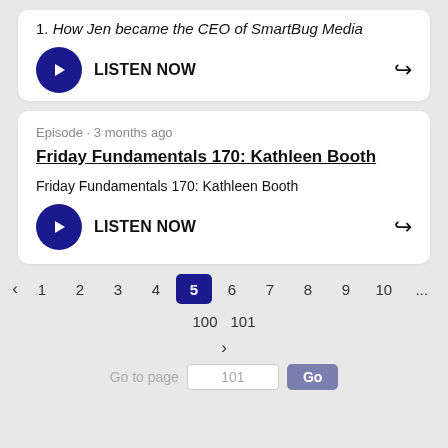1. How Jen became the CEO of SmartBug Media
LISTEN NOW
Episode · 3 months ago
Friday Fundamentals 170: Kathleen Booth
Friday Fundamentals 170: Kathleen Booth
LISTEN NOW
< 1 2 3 4 5 6 7 8 9 10 ... 100 101 > Go to page 101 Go